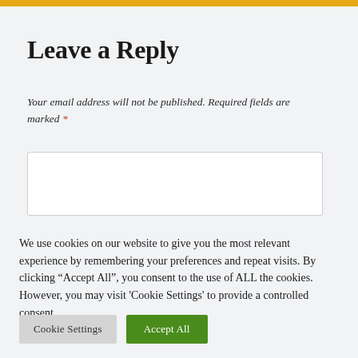Leave a Reply
Your email address will not be published. Required fields are marked *
We use cookies on our website to give you the most relevant experience by remembering your preferences and repeat visits. By clicking “Accept All”, you consent to the use of ALL the cookies. However, you may visit 'Cookie Settings' to provide a controlled consent.